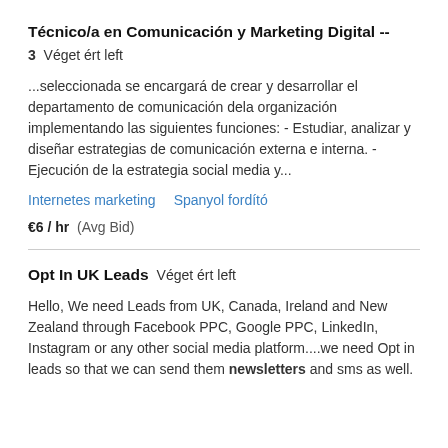Técnico/a en Comunicación y Marketing Digital --
3  Véget ért left
...seleccionada se encargará de crear y desarrollar el departamento de comunicación dela organización implementando las siguientes funciones: - Estudiar, analizar y diseñar estrategias de comunicación externa e interna. - Ejecución de la estrategia social media y...
Internetes marketing
Spanyol fordító
€6 / hr  (Avg Bid)
Opt In UK Leads  Véget ért left
Hello, We need Leads from UK, Canada, Ireland and New Zealand through Facebook PPC, Google PPC, LinkedIn, Instagram or any other social media platform....we need Opt in leads so that we can send them newsletters and sms as well.